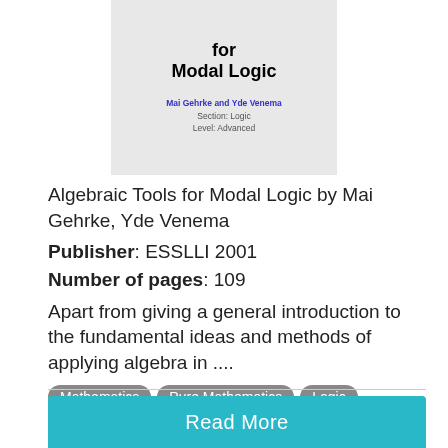[Figure (illustration): Book cover for 'Algebraic Tools for Modal Logic' showing title in bold, authors Mai Gehrke and Yde Venema in blue, Section: Logic, Level: Advanced on a grey background]
Algebraic Tools for Modal Logic by Mai Gehrke, Yde Venema
Publisher: ESSLLI 2001
Number of pages: 109
Apart from giving a general introduction to the fundamental ideas and methods of applying algebra in ....
Mathematics
Pure Mathematics
Logic
Modal Logic
Read More